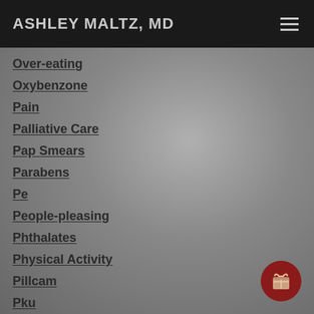ASHLEY MALTZ, MD
Over-eating
Oxybenzone
Pain
Palliative Care
Pap Smears
Parabens
Pe
People-pleasing
Phthalates
Physical Activity
Pillcam
Pku
Plastics
Poison Prevention
Pollution
Potato Chips